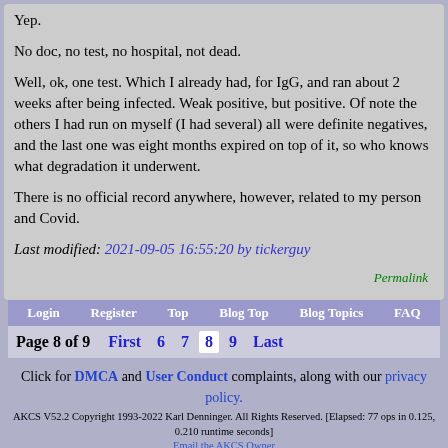Yep.
No doc, no test, no hospital, not dead.
Well, ok, one test. Which I already had, for IgG, and ran about 2 weeks after being infected. Weak positive, but positive. Of note the others I had run on myself (I had several) all were definite negatives, and the last one was eight months expired on top of it, so who knows what degradation it underwent.
There is no official record anywhere, however, related to my person and Covid.
Last modified: 2021-09-05 16:55:20 by tickerguy
Permalink
Login | Register | Top | Blog Top | Blog Topics | FAQ
Page 8 of 9  First  6  7  8  9  Last
Click for DMCA and User Conduct complaints, along with our privacy policy. AKCS V52.2 Copyright 1993-2022 Karl Denninger. All Rights Reserved. [Elapsed: 77 ops in 0.125, 0.210 runtime seconds] Email the AKCS Owner